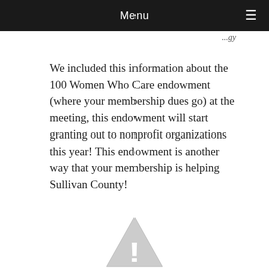Menu ☰
We included this information about the 100 Women Who Care endowment (where your membership dues go) at the meeting, this endowment will start granting out to nonprofit organizations this year! This endowment is another way that your membership is helping Sullivan County!
[Figure (illustration): Warning triangle icon with exclamation mark, gray colored, partially visible at bottom of page]